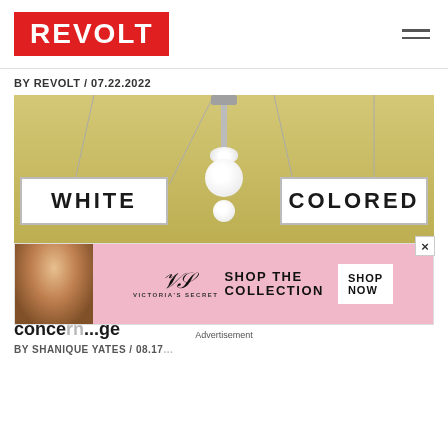REVOLT
BY REVOLT / 07.22.2022
[Figure (photo): Ceiling-mounted light fixture with pendant globe lights, flanked by two hanging illuminated signs reading 'WHITE' on the left and 'COLORED' on the right, Jim Crow era segregation signs displayed in a museum context.]
SOCIAL JUSTICE
Virgin... conce... ge
BY SHANIQUE YATES / 08.17...
[Figure (infographic): Victoria's Secret advertisement overlay: model photo on left, Victoria's Secret script logo with 'Shop the Collection' text and 'Shop Now' button on pink background. 'Advertisement' label below.]